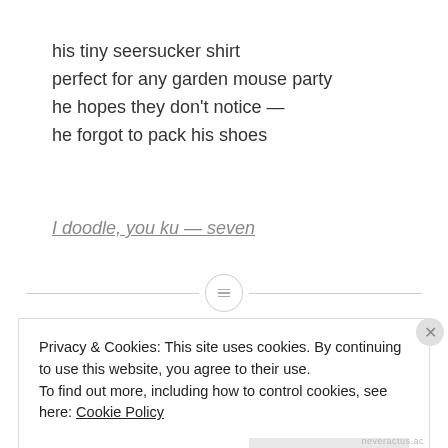his tiny seersucker shirt
perfect for any garden mouse party
he hopes they don’t notice —
he forgot to pack his shoes
I doodle, you ku — seven
Privacy & Cookies: This site uses cookies. By continuing to use this website, you agree to their use.
To find out more, including how to control cookies, see here: Cookie Policy
neveractus.ac